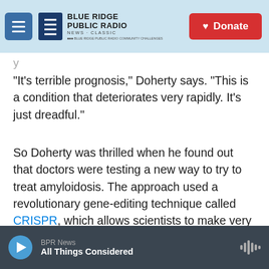Blue Ridge Public Radio — News + Classic | Donate
"It's terrible prognosis," Doherty says. "This is a condition that deteriorates very rapidly. It's just dreadful."
So Doherty was thrilled when he found out that doctors were testing a new way to try to treat amyloidosis. The approach used a revolutionary gene-editing technique called CRISPR, which allows scientists to make very precise changes in DNA.
"I thought: Fantastic. I jumped at the opportunity," Doherty says.
BPR News — All Things Considered